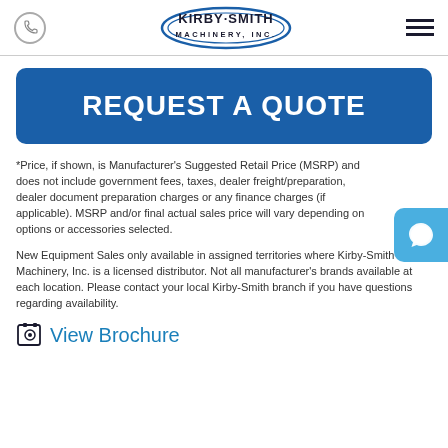Kirby-Smith Machinery, Inc.
REQUEST A QUOTE
*Price, if shown, is Manufacturer's Suggested Retail Price (MSRP) and does not include government fees, taxes, dealer freight/preparation, dealer document preparation charges or any finance charges (if applicable). MSRP and/or final actual sales price will vary depending on options or accessories selected.
New Equipment Sales only available in assigned territories where Kirby-Smith Machinery, Inc. is a licensed distributor. Not all manufacturer's brands available at each location. Please contact your local Kirby-Smith branch if you have questions regarding availability.
View Brochure